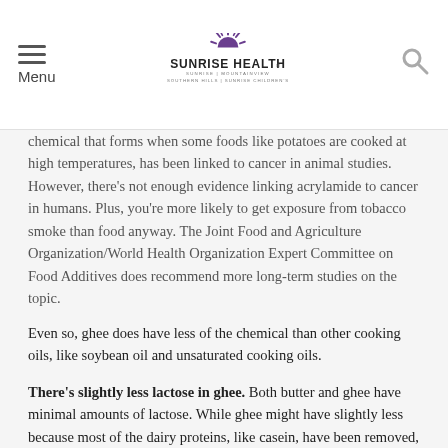Menu | Sunrise Health (Sunrise | Mountainview | Southern Hills | Sunrise Children's)
chemical that forms when some foods like potatoes are cooked at high temperatures, has been linked to cancer in animal studies. However, there's not enough evidence linking acrylamide to cancer in humans. Plus, you're more likely to get exposure from tobacco smoke than food anyway. The Joint Food and Agriculture Organization/World Health Organization Expert Committee on Food Additives does recommend more long-term studies on the topic.
Even so, ghee does have less of the chemical than other cooking oils, like soybean oil and unsaturated cooking oils.
There's slightly less lactose in ghee. Both butter and ghee have minimal amounts of lactose. While ghee might have slightly less because most of the dairy proteins, like casein, have been removed, most people with lactose intolerance are okay with small amounts of either one.